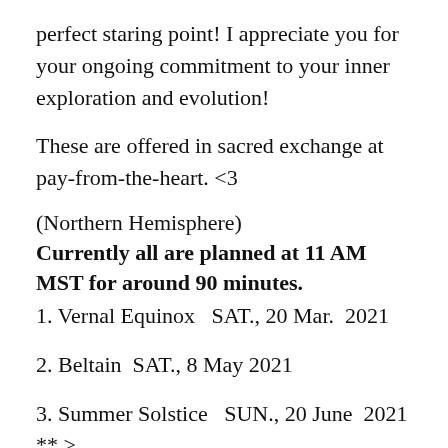perfect staring point! I appreciate you for your ongoing commitment to your inner exploration and evolution!
These are offered in sacred exchange at pay-from-the-heart. <3
(Northern Hemisphere)
Currently all are planned at 11 AM MST for around 90 minutes.
1. Vernal Equinox   SAT., 20 Mar.  2021
2. Beltain   SAT., 8 May 2021
3. Summer Solstice   SUN., 20 June  2021 **  >  Due to Father's Day, I may move this one to